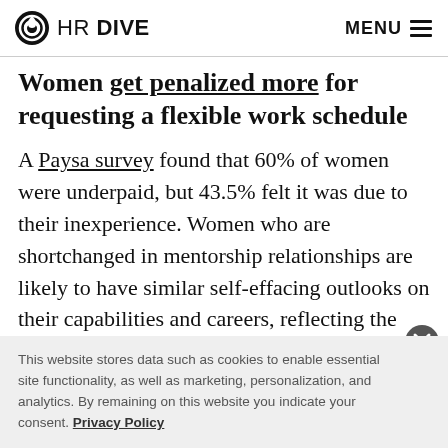HR DIVE  MENU
Women get penalized more for requesting a flexible work schedule
A Paysa survey found that 60% of women were underpaid, but 43.5% felt it was due to their inexperience. Women who are shortchanged in mentorship relationships are likely to have similar self-effacing outlooks on their capabilities and careers, reflecting the importance of male allies in the workplace, especially for
This website stores data such as cookies to enable essential site functionality, as well as marketing, personalization, and analytics. By remaining on this website you indicate your consent. Privacy Policy